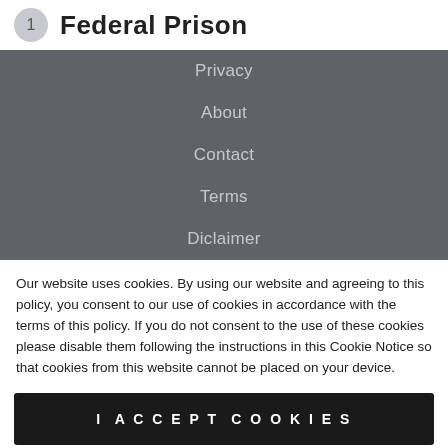1 Federal Prison
Privacy
About
Contact
Terms
Diclaimer
Our website uses cookies. By using our website and agreeing to this policy, you consent to our use of cookies in accordance with the terms of this policy. If you do not consent to the use of these cookies please disable them following the instructions in this Cookie Notice so that cookies from this website cannot be placed on your device.
I ACCEPT COOKIES